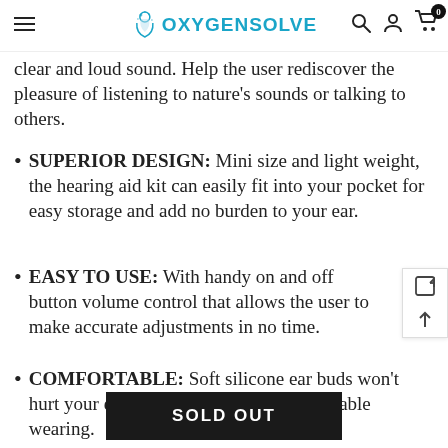OXYGENSOLVE
clear and loud sound. Help the user rediscover the pleasure of listening to nature's sounds or talking to others.
SUPERIOR DESIGN: Mini size and light weight, the hearing aid kit can easily fit into your pocket for easy storage and add no burden to your ear.
EASY TO USE: With handy on and off button volume control that allows the user to make accurate adjustments in no time.
COMFORTABLE: Soft silicone ear buds won't hurt your ears, offering the most comfortable wearing.
SOLD OUT